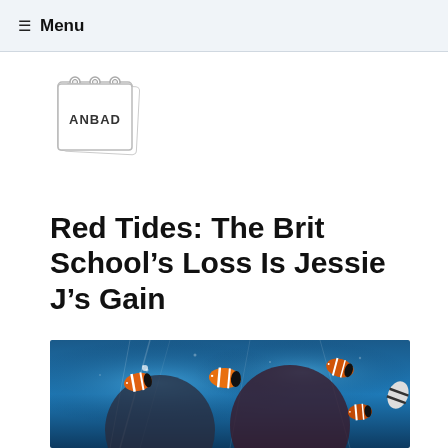≡ Menu
[Figure (logo): ANBAD logo — a hand-drawn notebook/calendar style illustration with 'ANBAD' written on it]
Red Tides: The Brit School's Loss Is Jessie J's Gain
[Figure (photo): Photo of two women viewed through an aquarium glass with clownfish (orange/white striped fish) swimming in front of their faces, blue underwater background with light rays]